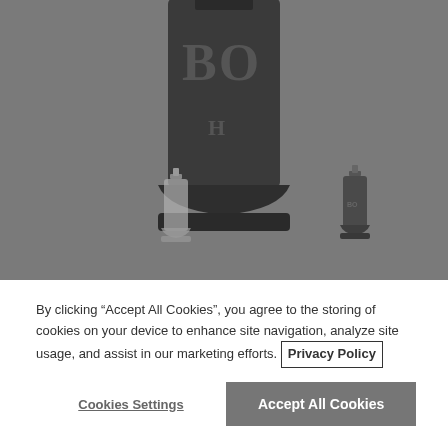[Figure (photo): Product photo of a dark perfume/cologne bottle (BOSS Hugo Boss) shown from above/close-up on a gray background. Two smaller thumbnail images of the full bottle appear below the main cropped image.]
By clicking “Accept All Cookies”, you agree to the storing of cookies on your device to enhance site navigation, analyze site usage, and assist in our marketing efforts. Privacy Policy
Cookies Settings
Accept All Cookies